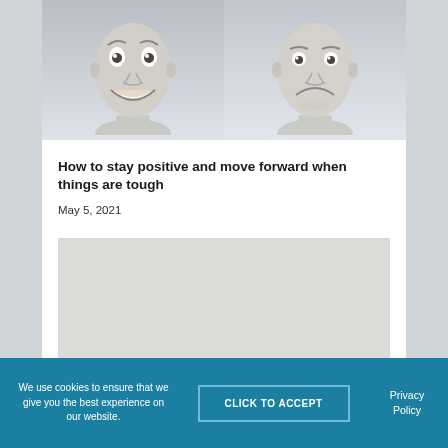[Figure (photo): Two male faces side by side: left face with a wide exaggerated smile (happy expression), right face with a frown (sad/unhappy expression). Both appear to be the same middle-aged man. The photo is in desaturated/grey tones.]
How to stay positive and move forward when things are tough
May 5, 2021
[Figure (photo): A second image placeholder shown as a light grey/beige rectangle, article thumbnail.]
We use cookies to ensure that we give you the best experience on our website.
CLICK TO ACCEPT
Privacy Policy